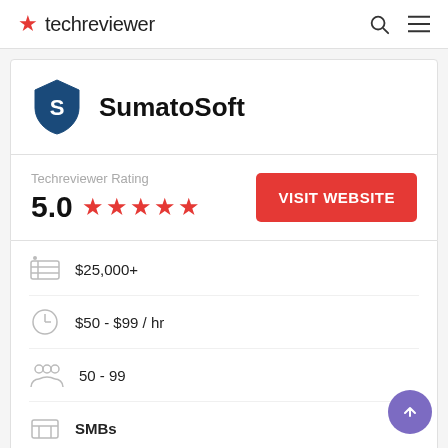techreviewer
SumatoSoft
Techreviewer Rating 5.0 ★★★★★
VISIT WEBSITE
$25,000+
$50 - $99 / hr
50 - 99
SMBs
United States, Boston